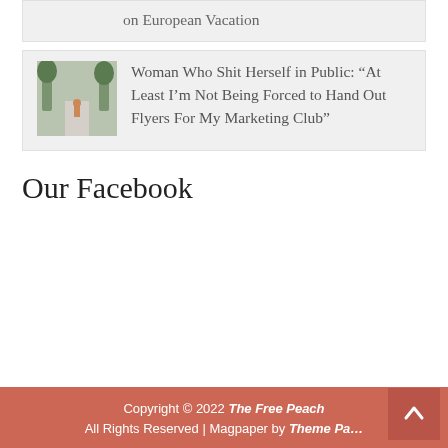on European Vacation
[Figure (photo): Small thumbnail image of a street scene, outdoor, trees visible]
Woman Who Shit Herself in Public: “At Least I’m Not Being Forced to Hand Out Flyers For My Marketing Club”
Our Facebook
Copyright © 2022 The Free Peach | All Rights Reserved | Magpaper by Theme Pa...